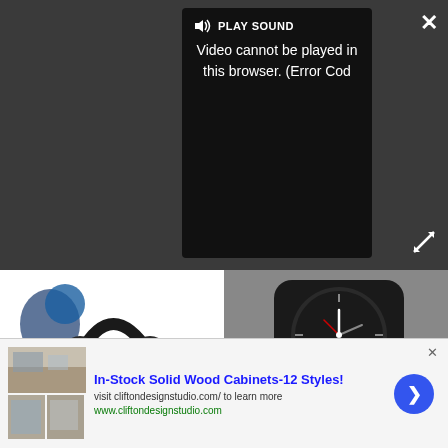[Figure (screenshot): Video player overlay with dark background, showing PLAY SOUND button and error message: 'Video cannot be played in this browser. (Error Cod' — screenshot of a browser video error]
PLAY SOUND
Video cannot be played in this browser. (Error Cod
[Figure (photo): Photo of dark over-ear headphones (Sony-style) floating on white background with blue colorway variant visible]
These headphones could bring you the sound of silence at an affordable price ▶
[Figure (screenshot): O&O DiskImage product screenshot showing a clock/phone device with software UI overlay]
O&O DiskImage ▶
[Figure (photo): Advertisement banner showing kitchen/cabinet photos for Clifton Design Studio]
In-Stock Solid Wood Cabinets-12 Styles!
visit cliftondesignstudio.com/ to learn more
www.cliftondesignstudio.com